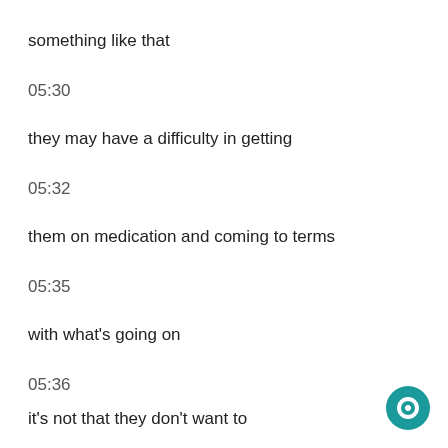something like that
05:30
they may have a difficulty in getting
05:32
them on medication and coming to terms
05:35
with what's going on
05:36
it's not that they don't want to